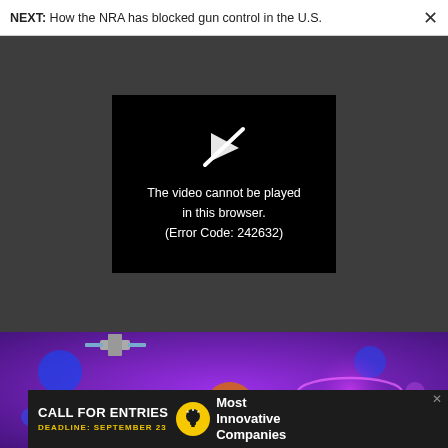NEXT: How the NRA has blocked gun control in the U.S.
[Figure (screenshot): Black video error box with crossed-out play icon and text: The video cannot be played in this browser. (Error Code: 242632), on a dark gray background.]
The video cannot be played in this browser. (Error Code: 242632)
[Figure (illustration): Colorful VR/metaverse illustration with a character wearing a VR headset surrounded by glowing purple and blue orbs, satellite, and rings on a purple gradient background.]
[Figure (screenshot): Advertisement banner: CALL FOR ENTRIES, DEADLINE: SEPTEMBER 23, with a lightbulb icon and text 'Most Innovative Companies' on a dark background.]